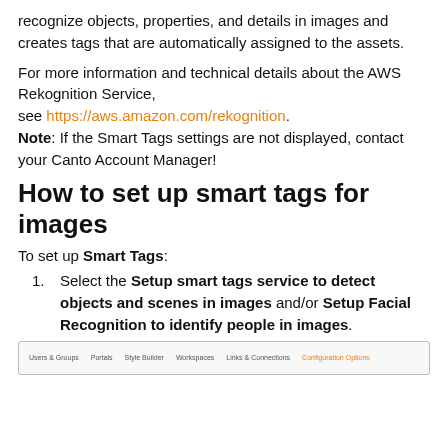recognize objects, properties, and details in images and creates tags that are automatically assigned to the assets.
For more information and technical details about the AWS Rekognition Service, see https://aws.amazon.com/rekognition. Note: If the Smart Tags settings are not displayed, contact your Canto Account Manager!
How to set up smart tags for images
To set up Smart Tags:
Select the Setup smart tags service to detect objects and scenes in images and/or Setup Facial Recognition to identify people in images.
[Figure (screenshot): Navigation tabs screenshot showing: Users & Groups, Portals, Style Builder, Workspaces, Links & Connections, Configuration Options (active/highlighted in orange)]